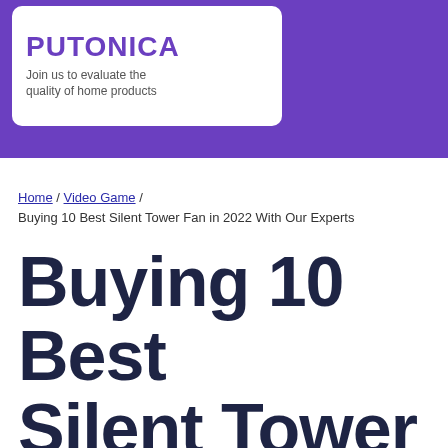[Figure (logo): PUTONICA logo with tagline 'Join us to evaluate the quality of home products' on a white card over a purple banner background]
Home / Video Game / Buying 10 Best Silent Tower Fan in 2022 With Our Experts
Buying 10 Best Silent Tower Fan in 2022 With Our Experts